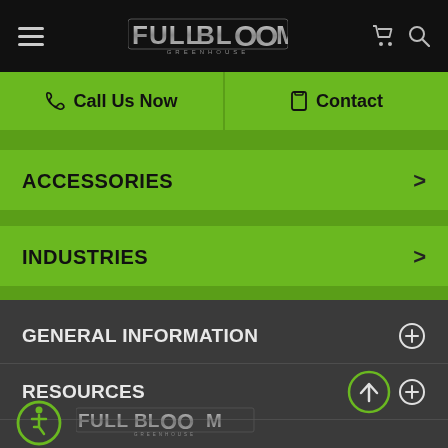[Figure (logo): Full Bloom Greenhouse logo in silver/grey gradient on black navigation bar with hamburger menu, cart and search icons]
Call Us Now
Contact
ACCESSORIES
INDUSTRIES
GENERAL INFORMATION
RESOURCES
[Figure (logo): Accessibility icon (wheelchair symbol) in green circle outline, and Full Bloom Greenhouse logo in silver/grey gradient at bottom of page]